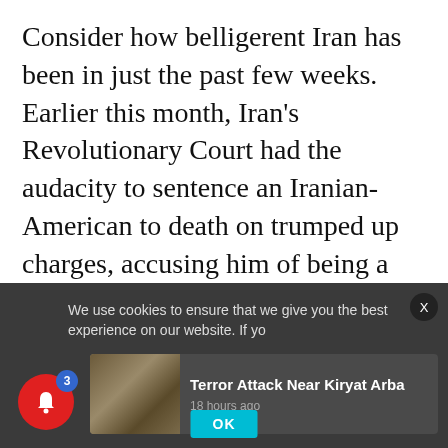Consider how belligerent Iran has been in just the past few weeks. Earlier this month, Iran's Revolutionary Court had the audacity to sentence an Iranian-American to death on trumped up charges, accusing him of being a CIA spy.
The ayatollahs have also repeatedly threatened to close the Strait of Hormuz, a critical transit route for international oil shipments, in retaliation for Western sanctions.
We use cookies to ensure that we give you the best experience on our website. If yo
Terror Attack Near Kiryat Arba
18 hours ago
OK